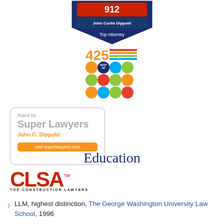[Figure (logo): Top Attorney shield badge with 'John Curtis Dippold' and 'Top Attorney' text on navy/red shield]
[Figure (logo): 425 Magazine Best Of badge with colorful category icons]
[Figure (logo): Super Lawyers rated badge - 'Rated By Super Lawyers, John C. Dippold, visit superlawyers.com']
[Figure (logo): CLSA Top Construction Lawyers logo in red with trademark symbol]
Education
LLM, highest distinction, The George Washington University Law School, 1996